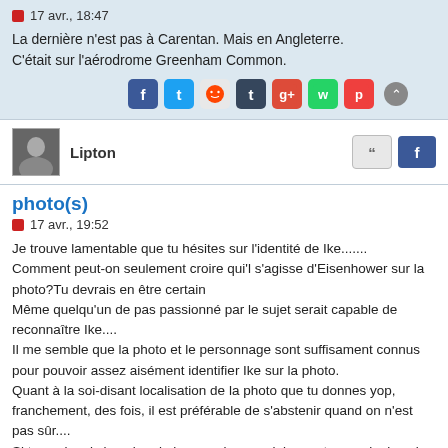17 avr., 18:47
La dernière n'est pas à Carentan. Mais en Angleterre.
C'était sur l'aérodrome Greenham Common.
[Figure (infographic): Social sharing icons: Facebook, Twitter, Reddit, Tumblr, Google+, WhatsApp, Pocket, and a scroll-up button]
Lipton
[Figure (infographic): Quote button and Facebook button]
photo(s)
17 avr., 19:52
Je trouve lamentable que tu hésites sur l'identité de Ike.......
Comment peut-on seulement croire qui'l s'agisse d'Eisenhower sur la photo?Tu devrais en être certain
Même quelqu'un de pas passionné par le sujet serait capable de reconnaître Ike....
Il me semble que la photo et le personnage sont suffisament connus pour pouvoir assez aisément identifier Ike sur la photo.
Quant à la soi-disant localisation de la photo que tu donnes yop, franchement, des fois, il est préférable de s'abstenir quand on n'est pas sûr....
Si tu avais pris la peine de la regarder un minimum, tu verrais dans le fond de la photo les tentes dans lesquelles étaient cantonés les paras en angleterre juste avant le ddav...